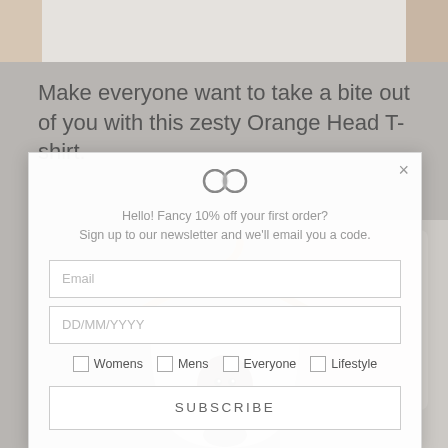[Figure (photo): Top portion of a person wearing a light-colored t-shirt, showing arms and torso against a gray background]
Make everyone want to take a bite out of you with this zesty Orange Head T-shirt.
[Figure (logo): Two overlapping circles logo icon]
Hello! Fancy 10% off your first order? Sign up to our newsletter and we'll email you a code.
Email
DD/MM/YYYY
Womens  Mens  Everyone  Lifestyle
SUBSCRIBE
[Figure (photo): T-shirt product photo showing a cartoon orange character printed on a white t-shirt hanging on a hanger]